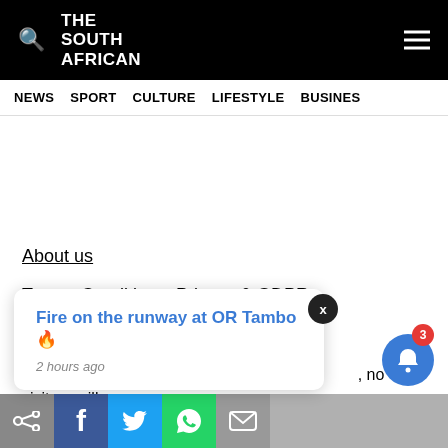THE SOUTH AFRICAN
NEWS  SPORT  CULTURE  LIFESTYLE  BUSINESS
About us
Terms, Conditions, Privacy & GDPR
Contact Us
Our offices are for administrative purposes only, no visitors will be accepted without a prior appointment.
Fire on the runway at OR Tambo 🔥
2 hours ago